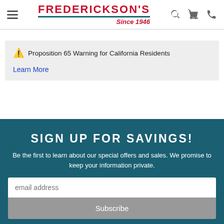FREDERICKSON'S Since 1946
⚠ Proposition 65 Warning for California Residents
Learn More
SIGN UP FOR SAVINGS!
Be the first to learn about our special offers and sales. We promise to keep your information private.
email address
Subscribe